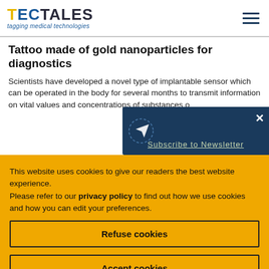TECTALES – tagging medical technologies
Tattoo made of gold nanoparticles for diagnostics
Scientists have developed a novel type of implantable sensor which can be operated in the body for several months to transmit information on vital values and concentrations of substances o...
[Figure (screenshot): Newsletter subscription popup overlay with paper plane icon and 'Subscribe to Newsletter' label on dark blue background with close X button]
This website uses cookies to give our readers the best website experience.
Please refer to our privacy policy to find out how we use cookies and how you can edit your preferences.
Refuse cookies
Accept cookies